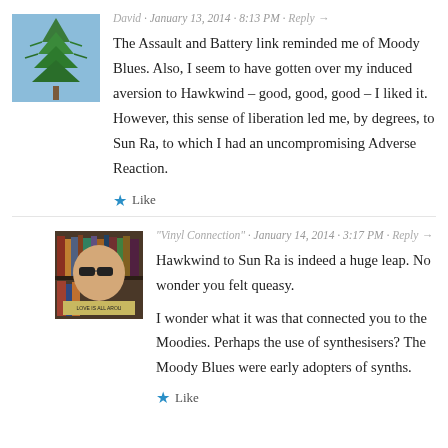[Figure (photo): Avatar image of a pine tree against blue sky]
David · January 13, 2014 · 8:13 PM · Reply →
The Assault and Battery link reminded me of Moody Blues. Also, I seem to have gotten over my induced aversion to Hawkwind – good, good, good – I liked it. However, this sense of liberation led me, by degrees, to Sun Ra, to which I had an uncompromising Adverse Reaction.
★ Like
[Figure (photo): Avatar image of a person wearing sunglasses, with 'Vinyl Connection' text visible]
"Vinyl Connection" · January 14, 2014 · 3:17 PM · Reply →
Hawkwind to Sun Ra is indeed a huge leap. No wonder you felt queasy.
I wonder what it was that connected you to the Moodies. Perhaps the use of synthesisers? The Moody Blues were early adopters of synths.
★ Like